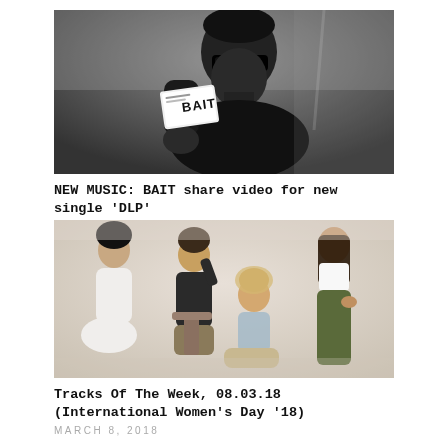[Figure (photo): Black and white photo of a man wearing sunglasses holding up a card/ticket that says 'BAIT']
NEW MUSIC: BAIT share video for new single 'DLP'
APRIL 19, 2019
[Figure (photo): Color photo of four women posing together in various stylish outfits against a light background]
Tracks Of The Week, 08.03.18 (International Women's Day '18)
MARCH 8, 2018